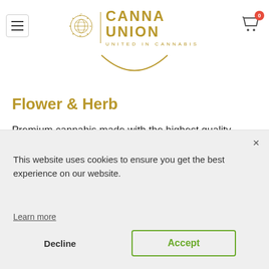[Figure (logo): Canna Union logo with globe/leaf emblem and text 'CANNA UNION / UNITED IN CANNABIS' in gold, plus hamburger menu and cart icon]
Flower & Herb
Premium cannabis made with the highest quality flower.
This website uses cookies to ensure you get the best experience on our website.
Learn more
Decline
Accept